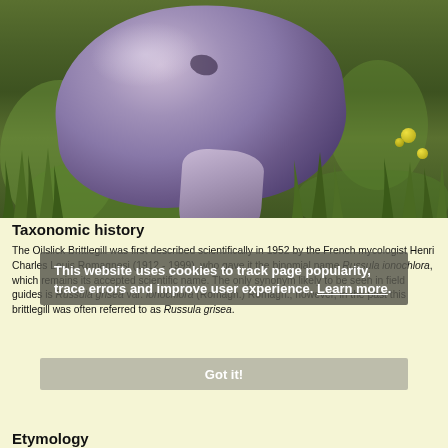[Figure (photo): A large purple-grey mushroom (Oilslick Brittlegill / Russula ionochlora) lying on green grass, photographed from a close-up angle. The mushroom has a broad rounded cap and thick stem. Small yellow berries visible in the background.]
Taxonomic history
The Oilslick Brittlegill was first described scientifically in 1952 by the French mycologist Henri Charles Louis Romagnesi (1912 - 1999), who gave it the binomial name Russula ionochlora, which remains its accepted scientific name. The only synonym likely to be seen in field guides is Russula grisea var. ionochlora (Romagn.) Romagn.; however, in the past this brittlegill was often referred to as Russula grisea.
Etymology